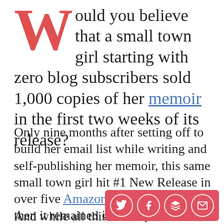Would you believe that a small town girl starting with zero blog subscribers sold 1,000 copies of her memoir in the first two weeks of its release?
Only nine months after setting off to build her email list while writing and self-publishing her memoir, this same small town girl hit #1 New Release in over five Amazon categories. And then it remained in the top 10 for multiple categories its entire first month.
And while all this h...
[Figure (infographic): Social share bar with four circular icon buttons on a red/coral background: Twitter bird, Facebook f, Layers/Buffer icon, and envelope/email icon]